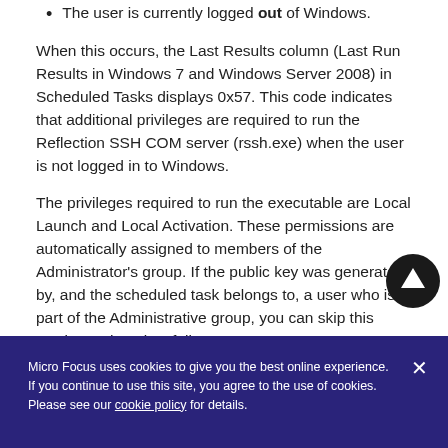The user is currently logged out of Windows.
When this occurs, the Last Results column (Last Run Results in Windows 7 and Windows Server 2008) in Scheduled Tasks displays 0x57. This code indicates that additional privileges are required to run the Reflection SSH COM server (rssh.exe) when the user is not logged in to Windows.
The privileges required to run the executable are Local Launch and Local Activation. These permissions are automatically assigned to members of the Administrator's group. If the public key was generated by, and the scheduled task belongs to, a user who is part of the Administrative group, you can skip this section. Otherwise, follow
Micro Focus uses cookies to give you the best online experience. If you continue to use this site, you agree to the use of cookies. Please see our cookie policy for details.